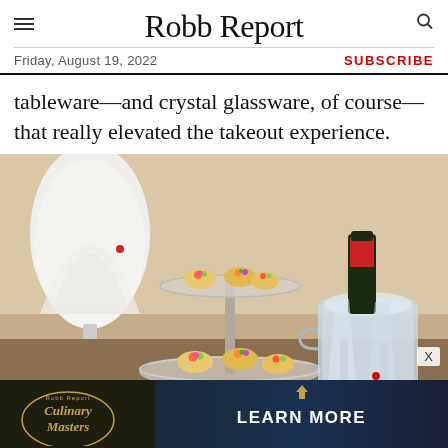Robb Report
Friday, August 19, 2022
SUBSCRIBE
tableware—and crystal glassware, of course—that really elevated the takeout experience.
[Figure (photo): A two-tiered crystal serving stand with colorful canapés and petit fours on each tier, surrounded by a crystal champagne bucket with an ice-chilled bottle and crystal flute glasses, with a white feathered Christmas tree decoration in the background.]
[Figure (photo): Advertisement banner for Robb Report Culinary Masters with a learn more call to action over a coastal/ocean background image.]